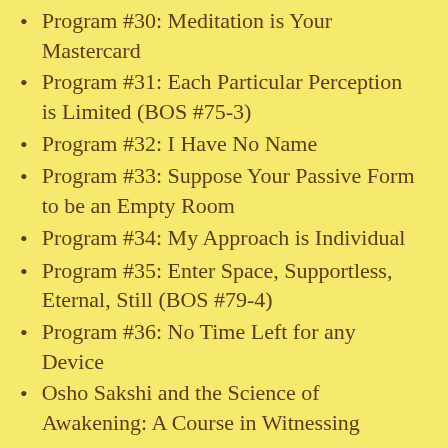Program #30: Meditation is Your Mastercard
Program #31: Each Particular Perception is Limited (BOS #75-3)
Program #32: I Have No Name
Program #33: Suppose Your Passive Form to be an Empty Room
Program #34: My Approach is Individual
Program #35: Enter Space, Supportless, Eternal, Still (BOS #79-4)
Program #36: No Time Left for any Device
Osho Sakshi and the Science of Awakening: A Course in Witnessing
Program #... [cut off]